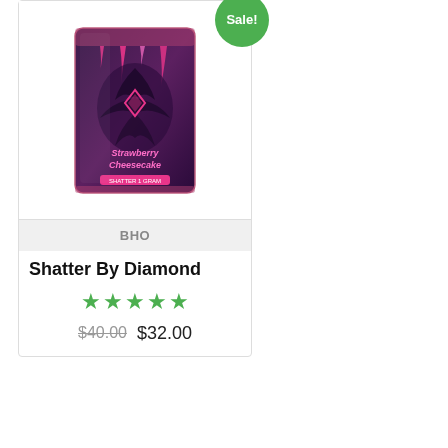[Figure (photo): Product bag for Strawberry Cheesecake shatter with pink and purple design, diamond logo, and cannabis imagery]
Sale!
BHO
Shatter By Diamond
[Figure (other): 5 green star rating]
$40.00 $32.00